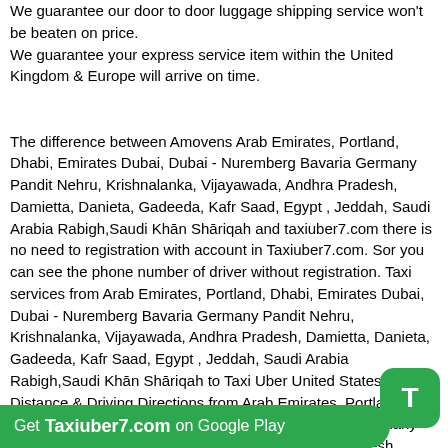We guarantee our door to door luggage shipping service won't be beaten on price.
We guarantee your express service item within the United Kingdom & Europe will arrive on time.

The difference between Amovens Arab Emirates, Portland, Dhabi, Emirates Dubai, Dubai - Nuremberg Bavaria Germany Pandit Nehru, Krishnalanka, Vijayawada, Andhra Pradesh, Damietta, Danieta, Gadeeda, Kafr Saad, Egypt , Jeddah, Saudi Arabia Rabigh,Saudi Khān Shāriqah and taxiuber7.com there is no need to registration with account in Taxiuber7.com. Sor you can see the phone number of driver without registration. Taxi services from Arab Emirates, Portland, Dhabi, Emirates Dubai, Dubai - Nuremberg Bavaria Germany Pandit Nehru, Krishnalanka, Vijayawada, Andhra Pradesh, Damietta, Danieta, Gadeeda, Kafr Saad, Egypt , Jeddah, Saudi Arabia Rabigh,Saudi Khān Shāriqah to Taxi Uber United States . Distance & Driving Directions from Arab Emirates, Portland, Dhabi, Emirates Dubai, Dubai - Nuremberg Bavaria Germany Pandit Nehru, Krishnalanka, Vijayawada, Andhra Pradesh, Damietta, Danieta, Gadeeda, Kafr Saad, Egypt , Jeddah, Saudi Arabia Rabigh,Saudi Khān Shāriqah .
Driving Distance help for how to reach your destination from Arab Emirates, Portland, Dhabi, Emirates Dubai, Dubai - Nuremberg Bavaria Germany Pandit Nehru, Krishnalanka, Vijayawada, Andhra Pradesh, Damietta, Danieta, Gadeeda, Kafr Saad, Egypt , Jeddah
Get Taxiuber7.com on Google Play